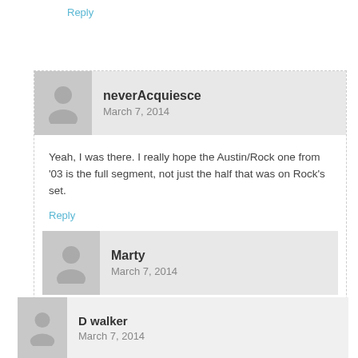Reply
neverAcquiesce
March 7, 2014
Yeah, I was there. I really hope the Austin/Rock one from '03 is the full segment, not just the half that was on Rock's set.
Reply
Marty
March 7, 2014
I've seen stills of Austin and Hogan smashing beers, but never any video. I'm glad this made it.
Reply
D walker
March 7, 2014